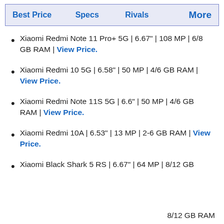Best Price | Specs | Rivals | More
Xiaomi Redmi Note 11 Pro+ 5G | 6.67" | 108 MP | 6/8 GB RAM | View Price.
Xiaomi Redmi 10 5G | 6.58" | 50 MP | 4/6 GB RAM | View Price.
Xiaomi Redmi Note 11S 5G | 6.6" | 50 MP | 4/6 GB RAM | View Price.
Xiaomi Redmi 10A | 6.53" | 13 MP | 2-6 GB RAM | View Price.
Xiaomi Black Shark 5 RS | 6.67" | 64 MP | 8/12 GB
8/12 GB RAM